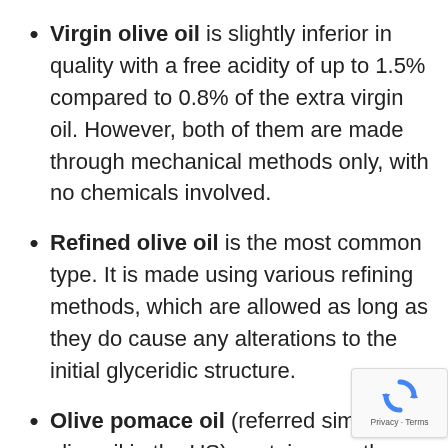Virgin olive oil is slightly inferior in quality with a free acidity of up to 1.5% compared to 0.8% of the extra virgin oil. However, both of them are made through mechanical methods only, with no chemicals involved.
Refined olive oil is the most common type. It is made using various refining methods, which are allowed as long as they do cause any alterations to the initial glyceridic structure.
Olive pomace oil (referred simply as olive oil in the US) contains mostly refined oil which is blended with virgin oil. Due to high smoke point, it is often used in